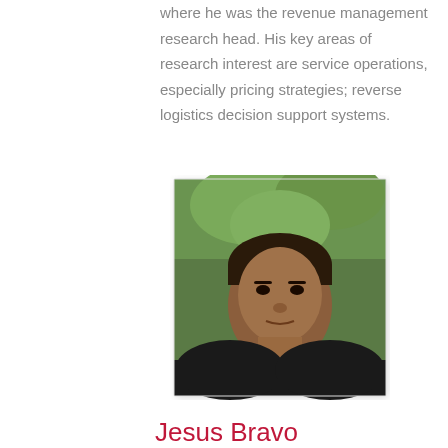where he was the revenue management research head. His key areas of research interest are service operations, especially pricing strategies; reverse logistics decision support systems.
[Figure (photo): Headshot photo of Jesus Bravo, a man with short dark hair wearing a dark jacket, photographed outdoors with green foliage in the background.]
Jesus Bravo